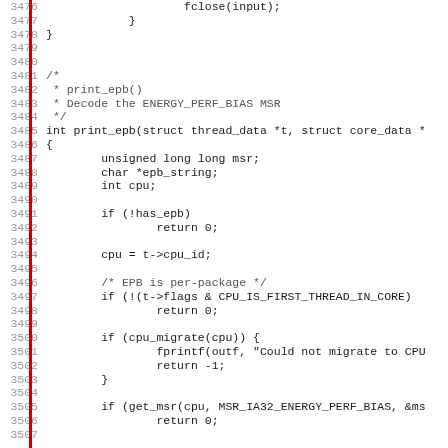Source code listing, lines 3476-3507, C function print_epb()